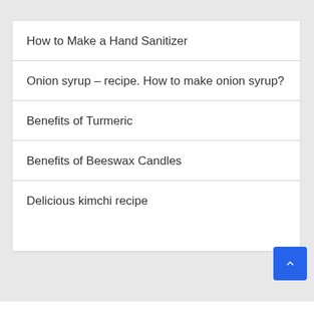How to Make a Hand Sanitizer
Onion syrup – recipe. How to make onion syrup?
Benefits of Turmeric
Benefits of Beeswax Candles
Delicious kimchi recipe